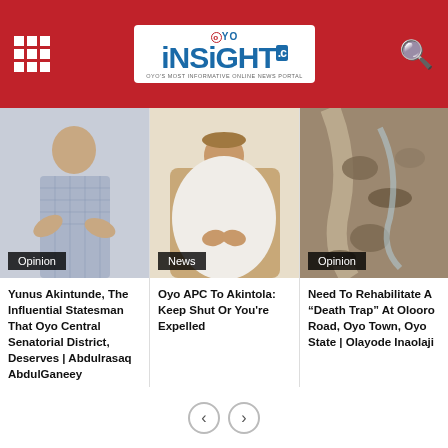OYO INSIGHT - Oyo's Most Informative Online News Portal
[Figure (photo): Photo of Yunus Akintunde, a man in a checkered shirt, with Opinion badge]
Yunus Akintunde, The Influential Statesman That Oyo Central Senatorial District, Deserves | Abdulrasaq AbdulGaneey
[Figure (photo): Photo of an elderly man in white agbada with hands clasped, with News badge]
Oyo APC To Akintola: Keep Shut Or You're Expelled
[Figure (photo): Aerial photo of a damaged road with exposed rocks and mud, with Opinion badge]
Need To Rehabilitate A “Death Trap” At Olooro Road, Oyo Town, Oyo State | Olayode Inaolaji